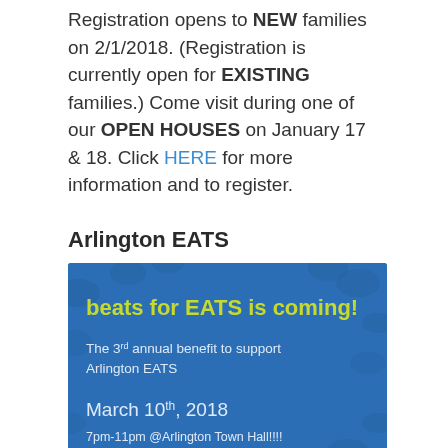Registration opens to NEW families on 2/1/2018. (Registration is currently open for EXISTING families.) Come visit during one of our OPEN HOUSES on January 17 & 18. Click HERE for more information and to register.
Arlington EATS
[Figure (illustration): Blue promotional graphic for 'beats for EATS is coming!' — The 3rd annual benefit to support Arlington EATS. March 10th, 2018. 7pm-11pm @Arlington Town Hall!!!!]